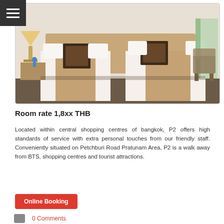[Figure (photo): Hotel twin bedroom with two single beds with white linens, brown decorative cushions and runners, warm-lit bedside lamp, and wooden headboard. Bright room with green curtains visible in background.]
Room rate 1,8xx THB
Located within central shopping centres of bangkok, P2 offers high standards of service with extra personal touches from our friendly staff. Conveniently situated on Petchburi Road Pratunam Area, P2 is a walk away from BTS, shopping centres and tourist attractions.
Online Booking
0 Comments